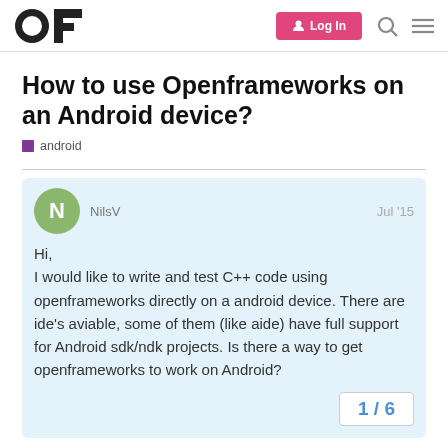OF | Log In
How to use Openframeworks on an Android device?
android
NilsV  Jul '15
Hi,
I would like to write and test C++ code using openframeworks directly on a android device. There are ide's aviable, some of them (like aide) have full support for Android sdk/ndk projects. Is there a way to get openframeworks to work on Android?
1 / 6